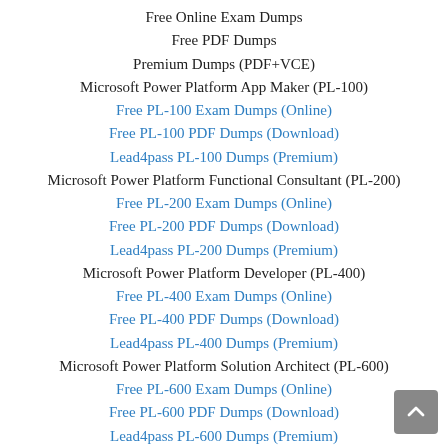Free Online Exam Dumps
Free PDF Dumps
Premium Dumps (PDF+VCE)
Microsoft Power Platform App Maker (PL-100)
Free PL-100 Exam Dumps (Online)
Free PL-100 PDF Dumps (Download)
Lead4pass PL-100 Dumps (Premium)
Microsoft Power Platform Functional Consultant (PL-200)
Free PL-200 Exam Dumps (Online)
Free PL-200 PDF Dumps (Download)
Lead4pass PL-200 Dumps (Premium)
Microsoft Power Platform Developer (PL-400)
Free PL-400 Exam Dumps (Online)
Free PL-400 PDF Dumps (Download)
Lead4pass PL-400 Dumps (Premium)
Microsoft Power Platform Solution Architect (PL-600)
Free PL-600 Exam Dumps (Online)
Free PL-600 PDF Dumps (Download)
Lead4pass PL-600 Dumps (Premium)
Microsoft Power Platform Fundamentals (PL-900)
Free PL-900 Exam Dumps (Online)
Free PL-900 PDF Dumps (Download)